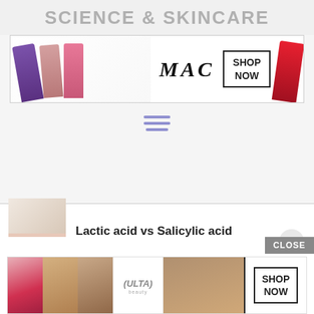SCIENCE & SKINCARE
[Figure (photo): MAC cosmetics advertisement banner showing purple, nude, and pink lipsticks on the left, MAC logo in center, SHOP NOW button, and red lipstick on right]
[Figure (other): Hamburger menu icon with three horizontal blue-purple lines]
Lactic acid vs Salicylic acid
November 2, 2019
AHAs vs BHAs
April 7, 2020
[Figure (photo): ULTA Beauty advertisement banner with images of lips, makeup brush, eye, ULTA logo, and eye closeup, with SHOP NOW button]
CLOSE